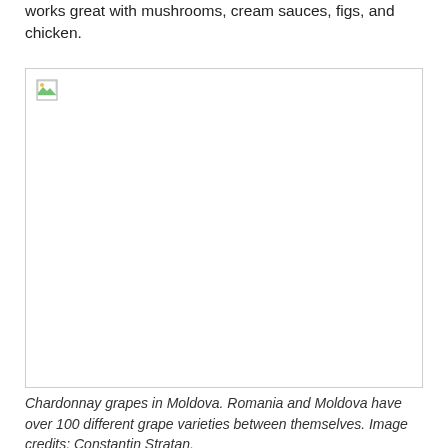works great with mushrooms, cream sauces, figs, and chicken.
[Figure (photo): A broken/missing image placeholder representing Chardonnay grapes in Moldova.]
Chardonnay grapes in Moldova. Romania and Moldova have over 100 different grape varieties between themselves. Image credits: Constantin Stratan.